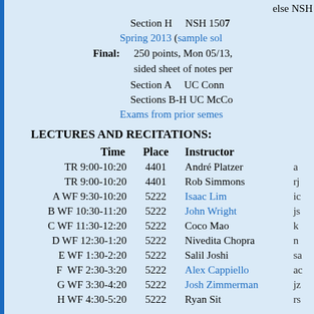else NSH
Section H    NSH 1507
Spring 2013 (sample sol
Final:   250 points, Mon 05/13, sided sheet of notes per
Section A    UC Conn
Sections B-H UC McCo
Exams from prior semes
LECTURES AND RECITATIONS:
| Time | Place | Instructor |  |
| --- | --- | --- | --- |
| TR 9:00-10:20 | 4401 | André Platzer | a |
| TR 9:00-10:20 | 4401 | Rob Simmons | rj |
| A WF 9:30-10:20 | 5222 | Isaac Lim | ic |
| B WF 10:30-11:20 | 5222 | John Wright | js |
| C WF 11:30-12:20 | 5222 | Coco Mao | k |
| D WF 12:30-1:20 | 5222 | Nivedita Chopra | n |
| E WF 1:30-2:20 | 5222 | Salil Joshi | sa |
| F  WF 2:30-3:20 | 5222 | Alex Cappiello | ac |
| G WF 3:30-4:20 | 5222 | Josh Zimmerman | jz |
| H WF 4:30-5:20 | 5222 | Ryan Sit | rs |